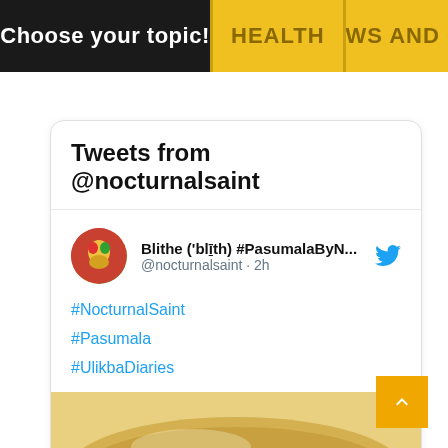Choose your topic! | HEALTH | NEWS AND CU...
Tweets from @nocturnalsaint
Blithe ('blīth) #PasumalaByN... @nocturnalsaint · 2h
#NocturnalSaint
#Pasumala
#UlikbaDiaries
[Figure (photo): Food image showing a dish with grains and dried fruits]